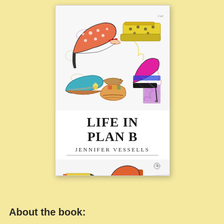[Figure (illustration): Book cover of 'Life in Plan B' by Jennifer Vessells, featuring colorful sketched/illustrated high-heeled shoes and flats in various styles and colors (orange polka dot heel, yellow platform, teal flat, striped sandal, pink high heel, orange platform heel). The cover has a white background with hand-drawn style shoe illustrations at the top and bottom, and large bold text in the center reading 'LIFE IN PLAN B' with author name 'JENNIFER VESSELLS' below it.]
About the book: